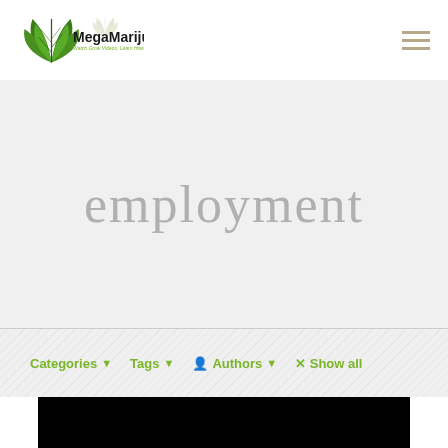MegaMarijuana — Watch Grow Videos, Learn How to Grow Your Own!
employment
Categories ▼   Tags ▼   Authors ▼   × Show all
[Figure (other): Black video thumbnail area at bottom of page]